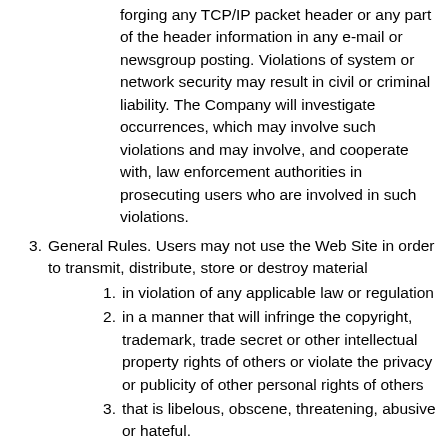forging any TCP/IP packet header or any part of the header information in any e-mail or newsgroup posting. Violations of system or network security may result in civil or criminal liability. The Company will investigate occurrences, which may involve such violations and may involve, and cooperate with, law enforcement authorities in prosecuting users who are involved in such violations.
3. General Rules. Users may not use the Web Site in order to transmit, distribute, store or destroy material
1. in violation of any applicable law or regulation
2. in a manner that will infringe the copyright, trademark, trade secret or other intellectual property rights of others or violate the privacy or publicity of other personal rights of others
3. that is libelous, obscene, threatening, abusive or hateful.